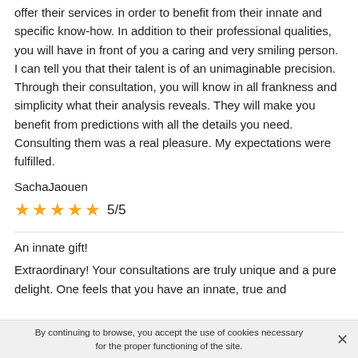offer their services in order to benefit from their innate and specific know-how. In addition to their professional qualities, you will have in front of you a caring and very smiling person. I can tell you that their talent is of an unimaginable precision. Through their consultation, you will know in all frankness and simplicity what their analysis reveals. They will make you benefit from predictions with all the details you need. Consulting them was a real pleasure. My expectations were fulfilled.
SachaJaouen
[Figure (other): 5 gold stars rating with text 5/5]
An innate gift!
Extraordinary! Your consultations are truly unique and a pure delight. One feels that you have an innate, true and
By continuing to browse, you accept the use of cookies necessary for the proper functioning of the site.